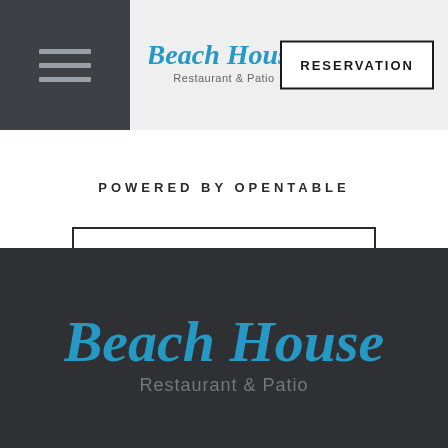[Figure (logo): Beach House Restaurant & Patio logo with hamburger menu icon on dark background and RESERVATION button]
POWERED BY OPENTABLE
FIND A TABLE
[Figure (logo): Beach House Restaurant & Patio logo in teal/blue script on dark footer background]